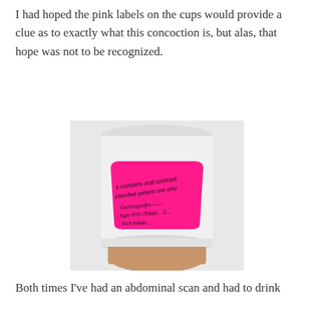I had hoped the pink labels on the cups would provide a clue as to exactly what this concoction is, but alas, that hope was not to be recognized.
[Figure (photo): A hand holding a white plastic cup with a bright pink label. The label text reads: 'contains oral contrast / intended patient use only / Gastrografin / ...5gm P.O / Ready C... / ...9/19 / Initials...']
Both times I've had an abdominal scan and had to drink